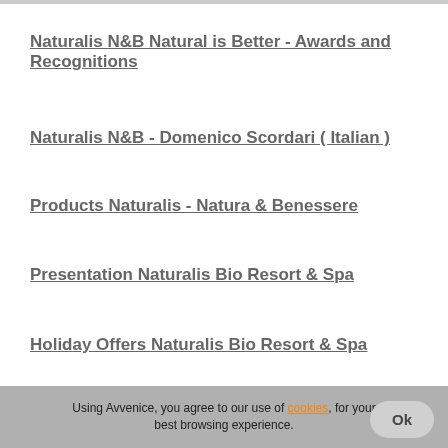Naturalis N&B Natural is Better - Awards and Recognitions
Naturalis N&B - Domenico Scordari ( Italian )
Products Naturalis - Natura & Benessere
Presentation Naturalis Bio Resort & Spa
Holiday Offers Naturalis Bio Resort & Spa
Coming Soon - The Products of This Partnership Will be Available Shortly
Using Avvenice, you agree to our use of cookies, for your best browsing experience.